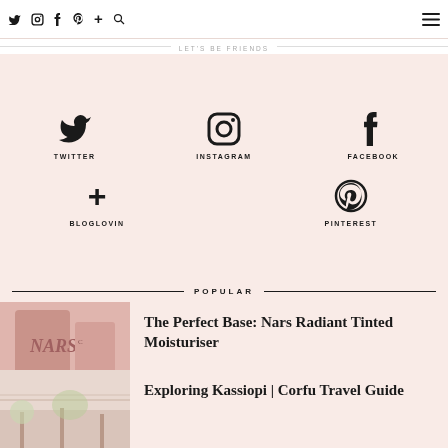Twitter Instagram Facebook Pinterest Bloglovin Search [hamburger menu]
LET'S BE FRIENDS
[Figure (infographic): Social media links: Twitter, Instagram, Facebook icons in top row; Bloglovin and Pinterest icons in bottom row, each with label below icon, on pink background]
POPULAR
[Figure (photo): Photo of NARS product (tinted moisturiser) being held, with Charlotte Tilbury logo visible]
The Perfect Base: Nars Radiant Tinted Moisturiser
[Figure (photo): Photo of a street scene in Kassiopi, Corfu, with power lines and greenery]
Exploring Kassiopi | Corfu Travel Guide